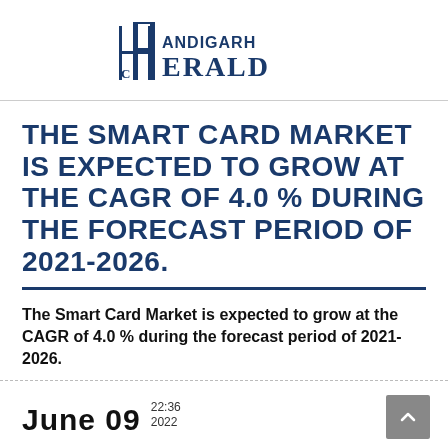Chandigarh Herald
THE SMART CARD MARKET IS EXPECTED TO GROW AT THE CAGR OF 4.0 % DURING THE FORECAST PERIOD OF 2021-2026.
The Smart Card Market is expected to grow at the CAGR of 4.0 % during the forecast period of 2021-2026.
June 09  22:36  2022